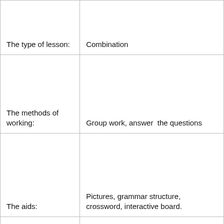| The type of lesson: | Combination |
| The methods of working: | Group work, answer  the questions |
| The aids: | Pictures, grammar structure, crossword, interactive board. |
|  |  |